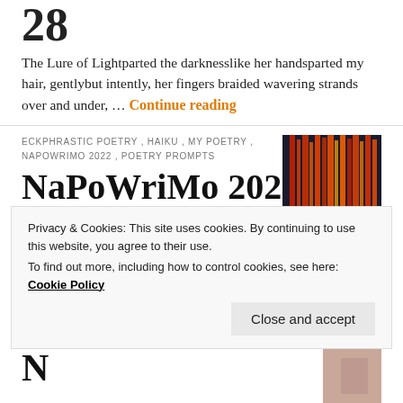28
The Lure of Lightparted the darknesslike her handsparted my hair, gentlybut intently, her fingers braided wavering strands over and under, … Continue reading
ECKPHRASTIC POETRY , HAIKU , MY POETRY , NAPOWRIMO 2022 , POETRY PROMPTS
NaPoWriMo 2022 day 27
[Figure (photo): Colorful vertical light streaks, red and yellow tones]
Lattice WorkLike tendrils reaching for the sun I reach for youWrapped in our long love Thanks to artist Anjum
Privacy & Cookies: This site uses cookies. By continuing to use this website, you agree to their use.
To find out more, including how to control cookies, see here: Cookie Policy
Close and accept
NaPoWriMo 2022 d…